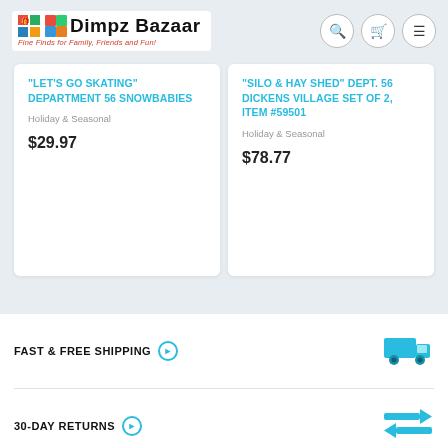Dimpz Bazaar - Fine Finds for Family, Friends and Fun!
"LET'S GO SKATING" DEPARTMENT 56 SNOWBABIES
Holiday & Seasonal
$29.97
"SILO & HAY SHED" DEPT. 56 DICKENS VILLAGE SET OF 2, ITEM #59501
Holiday & Seasonal
$78.77
FAST & FREE SHIPPING
30-DAY RETURNS